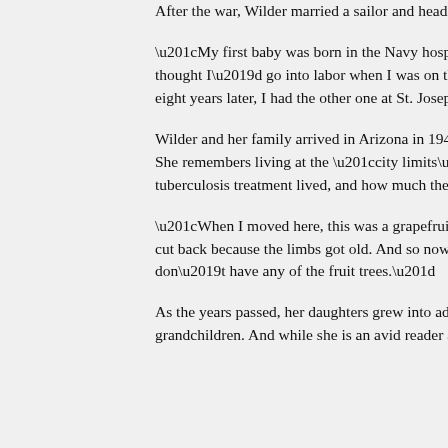After the war, Wilder married a sailor and headed across the country to California.
“My first baby was born in the Navy hospital over in Coronado. That was before they did the bridge, and they thought I’d go into labor when I was on the ferry,” she laughed, “but I made it across. And then eight years later, I had the other one at St. Joseph’s hospital.”
Wilder and her family arrived in Arizona in 1948. First living in Kingman, then Flagstaff, and finally in Sunnyslope. She remembers living at the “city limits” in 1952 and the “little cabins” where people seeking tuberculosis treatment lived, and how much the landscape has changed since.
“When I moved here, this was a grapefruit grove and had orchid trees, and then the trees, we had to have them cut back because the limbs got old. And so now, in my yard I just have ornamental orange and a flowering plum. I don’t have any of the fruit trees.”
As the years passed, her daughters grew into adults and Wilder now has five grandchildren and nine great-grandchildren. And while she is an avid reader and enjoys a good game of Spite and Malice, or watching